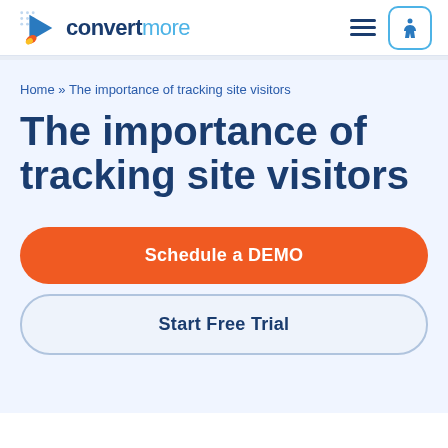convertmore
Home » The importance of tracking site visitors
The importance of tracking site visitors
Schedule a DEMO
Start Free Trial